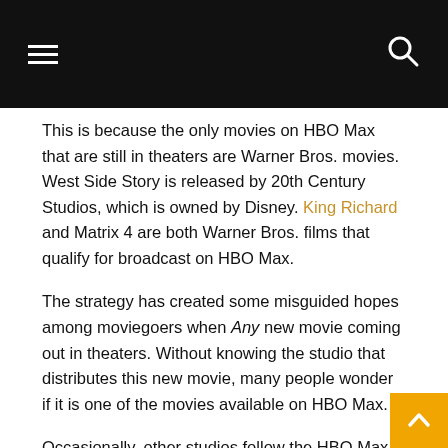[hamburger menu] [search icon]
This is because the only movies on HBO Max that are still in theaters are Warner Bros. movies. West Side Story is released by 20th Century Studios, which is owned by Disney. King Richard and Matrix 4 are both Warner Bros. films that qualify for broadcast on HBO Max.
The strategy has created some misguided hopes among moviegoers when Any new movie coming out in theaters. Without knowing the studio that distributes this new movie, many people wonder if it is one of the movies available on HBO Max.
Occasionally, other studios follow the HBO Max playbook and drop a movie in theaters and on a streaming service at the same time. So Halloween Kills and Clifford the big red dog became available for release the same day they hit theaters, at Peacock and Paramount Plus respectively. (See below for more details on wh...